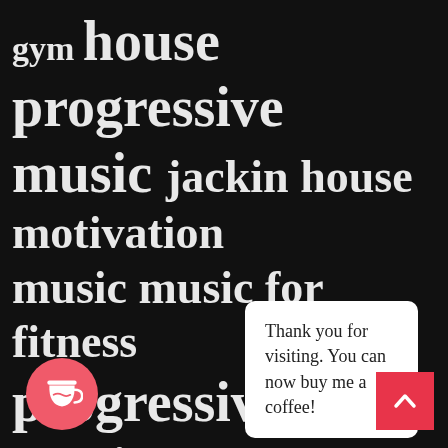gym house progressive music jackin house motivation music music for fitness progressive house music progressive music psy trance music sport tech house techno music top top 8 TOTYcoloGEE toty gee TOTY GYM trance & progressive music trance music uplifting trance vocal house mus
Thank you for visiting. You can now buy me a coffee!